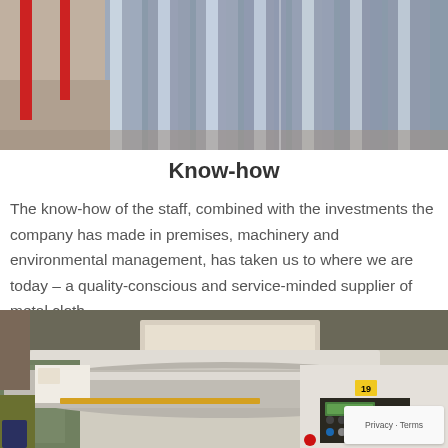[Figure (photo): Industrial metal rods or cylinders stacked together in a factory setting, with red poles visible in the background]
Know-how
The know-how of the staff, combined with the investments the company has made in premises, machinery and environmental management, has taken us to where we are today – a quality-conscious and service-minded supplier of metal cloth.
[Figure (photo): Industrial machinery interior showing a large rolling/winding machine for metal cloth, with control panels and buttons visible, a yellow number 19 tag, and factory floor equipment in the background]